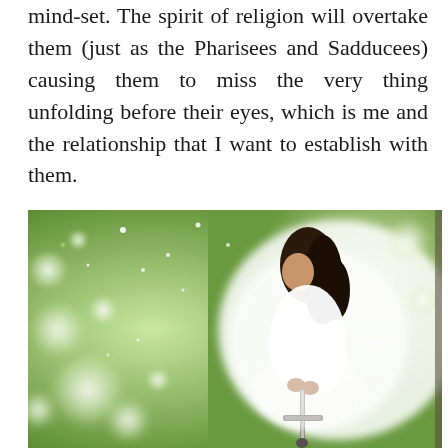mind-set. The spirit of religion will overtake them (just as the Pharisees and Sadducees) causing them to miss the very thing unfolding before their eyes, which is me and the relationship that I want to establish with them.
[Figure (photo): A woman in a white dress with dark hair leans forward holding a sword upright. The background is a dreamy, bokeh-filled scene with green foliage and bright white light spots, creating a magical or spiritual atmosphere.]